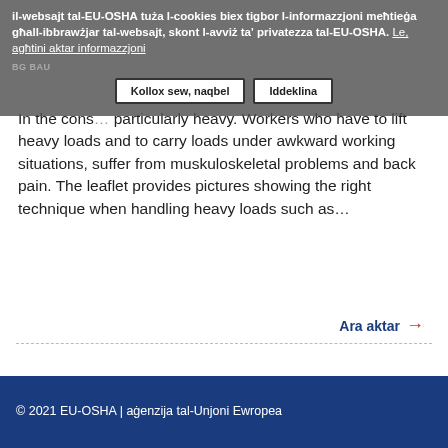il-websajt tal-EU-OSHA tuża l-cookies biex tigbor l-informazzjoni meħtieġa għall-ibbrawżjar tal-websajt, skont l-avviż ta' privatezza tal-EU-OSHA. Le, agħtini aktar informazzjoni
BG BAU
Kollox sew, naqbel | Iddeklina
In the cons... particularly heavy. Workers who have to lift heavy loads and to carry loads under awkward working situations, suffer from muskuloskeletal problems and back pain. The leaflet provides pictures showing the right technique when handling heavy loads such as...
Ara aktar →
© 2021 EU-OSHA | aġenzija tal-Unjoni Ewropea